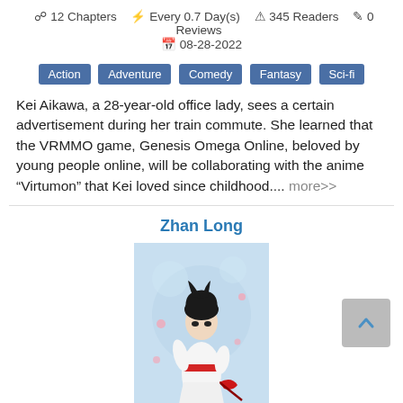12 Chapters  Every 0.7 Day(s)  345 Readers  0 Reviews  08-28-2022
Action
Adventure
Comedy
Fantasy
Sci-fi
Kei Aikawa, a 28-year-old office lady, sees a certain advertisement during her train commute. She learned that the VRMMO game, Genesis Omega Online, beloved by young people online, will be collaborating with the anime “Virtumon” that Kei loved since childhood.... more>>
Zhan Long
[Figure (illustration): Cover art illustration of a dark-haired anime character in white robes holding weapons, with a light blue background]
(2.9)
CN